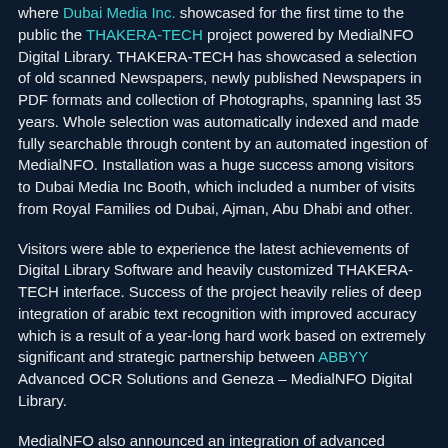where Dubai Media Inc. showcased for the first time to the public the THAKERA-TECH project powered by MedialNFO Digital Library. THAKERA-TECH has showcased a selection of old scanned Newspapers, newly published Newspapers in PDF formats and collection of Photographs, spanning last 35 years. Whole selection was automatically indexed and made fully searchable through content by an automated ingestion of MedialNFO. Installation was a huge success among visitors to Dubai Media Inc Booth, which included a number of visits from Royal Families od Dubai, Ajman, Abu Dhabi and other.
Visitors were able to experience the latest achievements of Digital Library Software and heavily customized THAKERA-TECH interface. Success of the project heavily relies of deep integration of arabic text recognition with improved accuracy which is a result of a year-long hard work based on extremely significant and strategic partnership between ABBYY Advanced OCR Solutions and Geneza – MedialNFO Digital Library.
MedialNFO also announced an integration of advanced speech-to-text solution for videos developed...